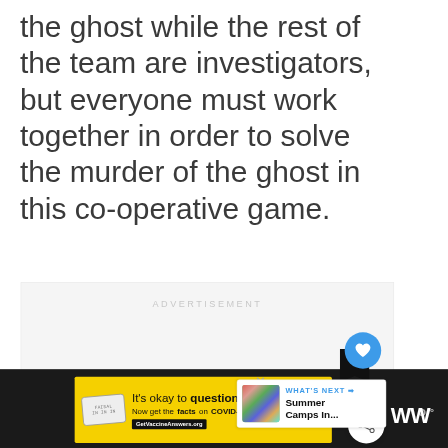the ghost while the rest of the team are investigators, but everyone must work together in order to solve the murder of the ghost in this co-operative game.
[Figure (screenshot): Advertisement placeholder box with 'ADVERTISEMENT' label in light gray text, with social interaction buttons (like count: 1, share) and a 'WHAT'S NEXT' panel showing 'Summer Camps In...' ]
[Figure (screenshot): Bottom advertisement banner on dark background: yellow ad for COVID-19 vaccine information reading 'It's okay to question. Now get the facts on COVID-19 vaccines GetVaccineAnswers.org' with a close button and WW logo]